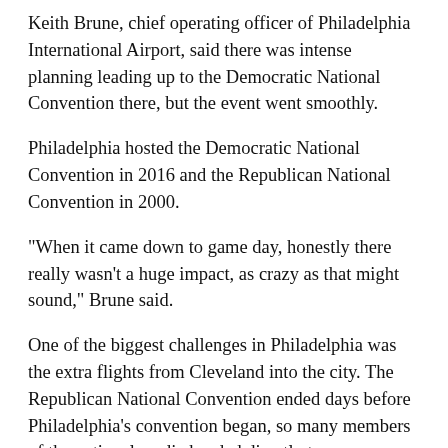Keith Brune, chief operating officer of Philadelphia International Airport, said there was intense planning leading up to the Democratic National Convention there, but the event went smoothly.
Philadelphia hosted the Democratic National Convention in 2016 and the Republican National Convention in 2000.
"When it came down to game day, honestly there really wasn't a huge impact, as crazy as that might sound," Brune said.
One of the biggest challenges in Philadelphia was the extra flights from Cleveland into the city. The Republican National Convention ended days before Philadelphia's convention began, so many members of the national media headed directly to Philadelphia, Brune said.
Meanwhile, construction has been underway since April to remodel or replace 22 restaurants and retail shops at the airport. New retailers include jewelry store Brighton, sports store No